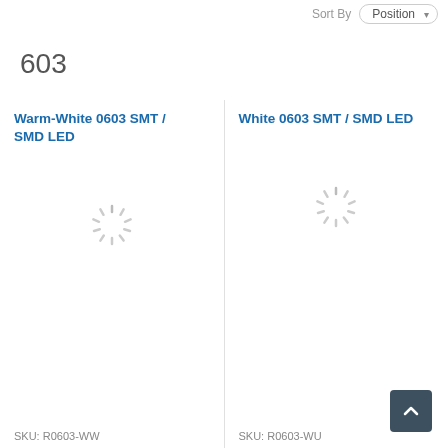Sort By  Position
603
Warm-White 0603 SMT / SMD LED
[Figure (other): Loading spinner icon (animated spinner placeholder for product image)]
SKU: R0603-WW
White 0603 SMT / SMD LED
[Figure (other): Loading spinner icon (animated spinner placeholder for product image)]
SKU: R0603-WU